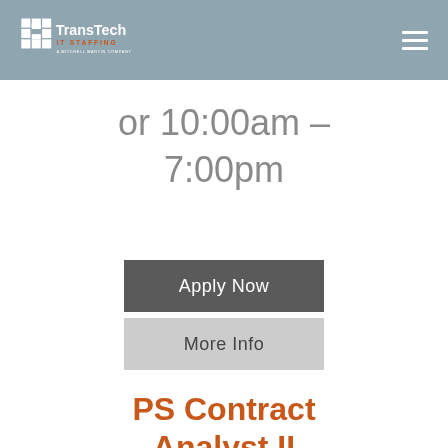[Figure (logo): TransTech IT Staffing logo — a Mitchell Martin Company, with grid icon in white and orange text]
or 10:00am – 7:00pm
Apply Now
More Info
PS Contract Analyst II